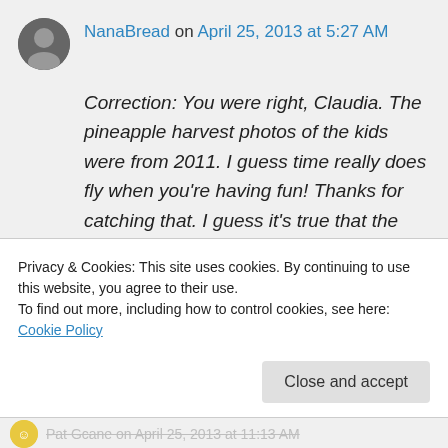[Figure (photo): User avatar photo - small circular profile picture of a person]
NanaBread on April 25, 2013 at 5:27 AM
Correction: You were right, Claudia. The pineapple harvest photos of the kids were from 2011. I guess time really does fly when you're having fun! Thanks for catching that. I guess it's true that the first thing to go is your mind. #50
Privacy & Cookies: This site uses cookies. By continuing to use this website, you agree to their use.
To find out more, including how to control cookies, see here: Cookie Policy
Close and accept
Pat Gcane on April 25, 2013 at 11:13 AM